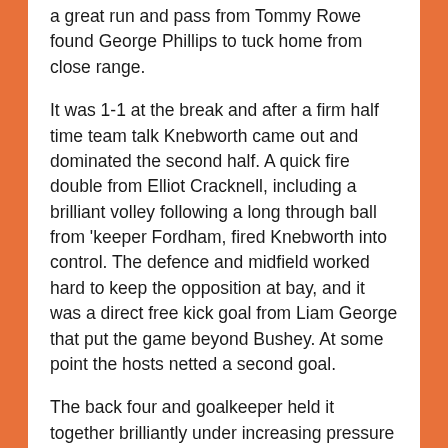a great run and pass from Tommy Rowe found George Phillips to tuck home from close range.
It was 1-1 at the break and after a firm half time team talk Knebworth came out and dominated the second half. A quick fire double from Elliot Cracknell, including a brilliant volley following a long through ball from 'keeper Fordham, fired Knebworth into control. The defence and midfield worked hard to keep the opposition at bay, and it was a direct free kick goal from Liam George that put the game beyond Bushey. At some point the hosts netted a second goal.
The back four and goalkeeper held it together brilliantly under increasing pressure in the closing stages, and a bonus fifth goal was added when Tommy Rowe streaked though and put it over the goalkeeper to round off a brilliant team performance.